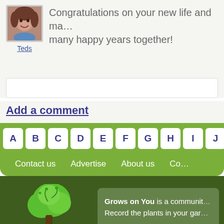Congratulations on your new life and many happy years together!
Teds
Add a comment
A
B
C
D
E
F
G
H
I
J
K
L
M
Contact us   Advertise   About us   Co...
[Figure (logo): Grows on You logo with green tree and text 'Growson You gardening with friends']
Grows on You is a communit... Record the plants in your gar...